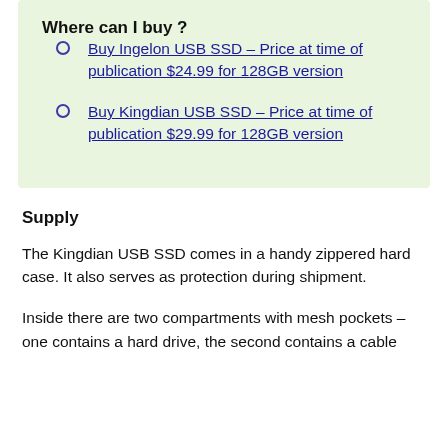Where can I buy ?
Buy Ingelon USB SSD – Price at time of publication $24.99 for 128GB version
Buy Kingdian USB SSD – Price at time of publication $29.99 for 128GB version
Supply
The Kingdian USB SSD comes in a handy zippered hard case. It also serves as protection during shipment.
Inside there are two compartments with mesh pockets – one contains a hard drive, the second contains a cable